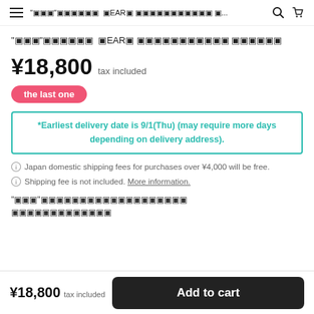☰  "▣▣▣"▣▣▣▣▣▣  ▣EAR▣ ▣▣▣▣▣▣▣▣▣▣▣ ▣...
"▣▣▣"▣▣▣▣▣▣  ▣EAR▣ ▣▣▣▣▣▣▣▣▣▣▣ ▣▣▣▣▣▣
¥18,800  tax included
the last one
*Earliest delivery date is 9/1(Thu) (may require more days depending on delivery address).
Japan domestic shipping fees for purchases over ¥4,000 will be free.
Shipping fee is not included. More information.
"▣▣▣"▣▣▣▣▣▣▣▣▣▣▣▣▣▣▣▣▣▣ ▣▣▣▣▣▣▣▣▣▣▣▣▣
¥18,800  tax included  Add to cart